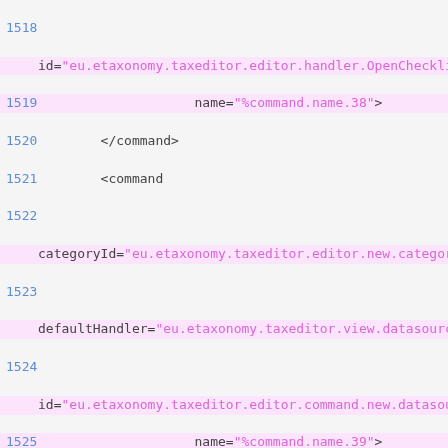Source code listing showing XML command definitions, lines 1518–1535
[Figure (screenshot): Code editor screenshot showing XML configuration with command definitions including OpenChecklistView, new datasource, OpenAlignmentEditor, and Load Pherogram commands with their handlers, IDs, and names highlighted in pink]